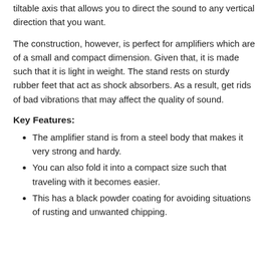tiltable axis that allows you to direct the sound to any vertical direction that you want.
The construction, however, is perfect for amplifiers which are of a small and compact dimension. Given that, it is made such that it is light in weight. The stand rests on sturdy rubber feet that act as shock absorbers. As a result, get rids of bad vibrations that may affect the quality of sound.
Key Features:
The amplifier stand is from a steel body that makes it very strong and hardy.
You can also fold it into a compact size such that traveling with it becomes easier.
This has a black powder coating for avoiding situations of rusting and unwanted chipping.